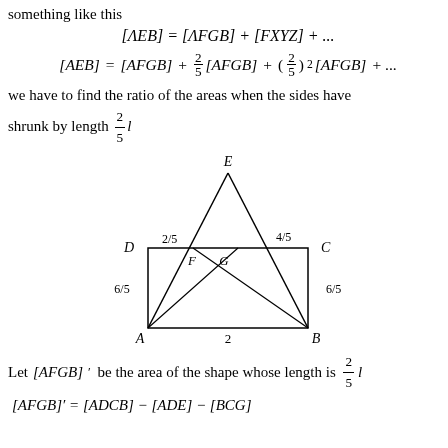something like this
we have to find the ratio of the areas when the sides have shrunk by length (2/5)l
[Figure (engineering-diagram): A square ABCD with vertices labeled A (bottom-left), B (bottom-right), C (top-right), D (top-left). A triangle AEB is drawn above, with apex E above the midpoint. Points F and G are on the top edge of the square. Side labels: 2/5 on left of triangle near D, 4/5 on right near C, 6/5 on left side of square, 6/5 on right side, 2 on bottom. F and G are labeled inside near the top edge.]
Let [AFGB]' be the area of the shape whose length is (2/5)l